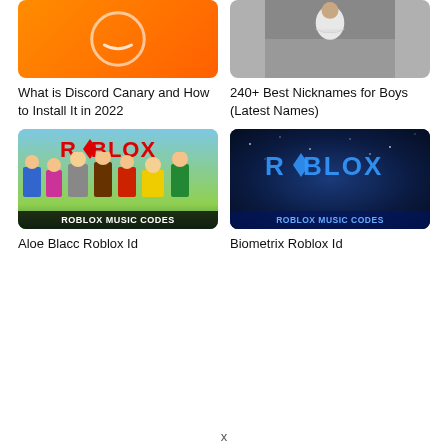[Figure (photo): Orange Discord Canary logo on orange gradient background]
What is Discord Canary and How to Install It in 2022
[Figure (photo): Person in white hoodie standing with arms crossed outdoors]
240+ Best Nicknames for Boys (Latest Names)
[Figure (photo): Roblox characters with ROBLOX MUSIC CODES banner, colorful game art]
Aloe Blacc Roblox Id
[Figure (photo): Dark blue Roblox logo with ROBLOX MUSIC CODES banner]
Biometrix Roblox Id